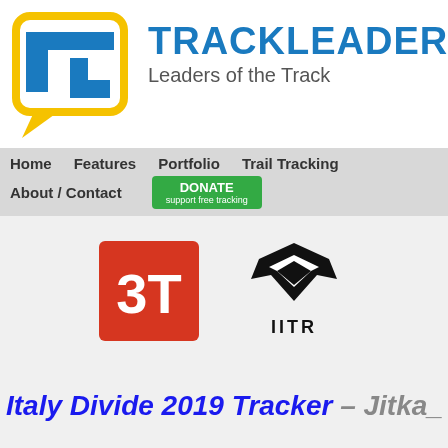[Figure (logo): TrackLeaders logo with TL icon in yellow speech bubble and blue text TRACKLEADERS with tagline Leaders of the Track]
Home   Features   Portfolio   Trail Tracking   About / Contact   DONATE support free tracking
[Figure (logo): 3T cycling brand logo — white 3T text on red square background]
[Figure (logo): MTR brand logo — black helmet/bike component icon with IITR text below]
Italy Divide 2019 Tracker - Jitka_